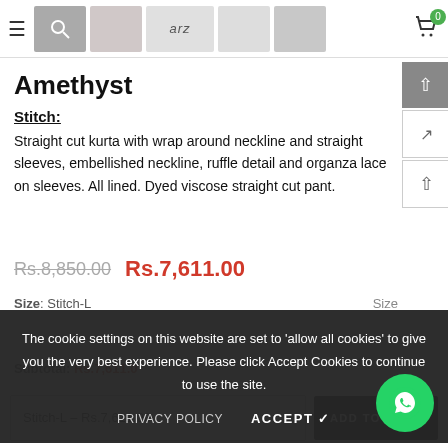ARZ fashion store header with thumbnails and cart (0 items)
Amethyst
Stitch:
Straight cut kurta with wrap around neckline and straight sleeves, embellished neckline, ruffle detail and organza lace on sleeves. All lined. Dyed viscose straight cut pant.
Rs.8,850.00  Rs.7,611.00
Size: Stitch-L
The cookie settings on this website are set to 'allow all cookies' to give you the very best experience. Please click Accept Cookies to continue to use the site.
Subtotal: Rs.7,611.00
Stitch-L – Rs.7,611.00  ADD TO CART